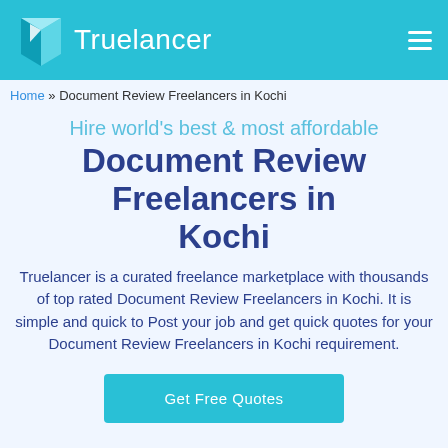Truelancer
Home » Document Review Freelancers in Kochi
Hire world's best & most affordable
Document Review Freelancers in Kochi
Truelancer is a curated freelance marketplace with thousands of top rated Document Review Freelancers in Kochi. It is simple and quick to Post your job and get quick quotes for your Document Review Freelancers in Kochi requirement.
Get Free Quotes